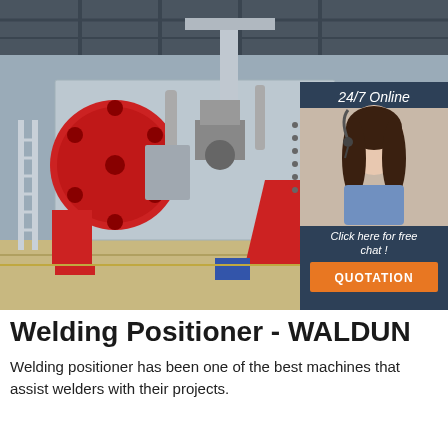[Figure (photo): A large industrial welding positioner machine in a factory/warehouse setting. The machine is predominantly red and grey/silver, with a circular rotating faceplate on the left side, and various mechanical components. There is also an overlay chat widget on the right side showing a female customer service agent wearing a headset, with text '24/7 Online', 'Click here for free chat!', and a 'QUOTATION' button.]
Welding Positioner - WALDUN
Welding positioner has been one of the best machines that assist welders with their projects.